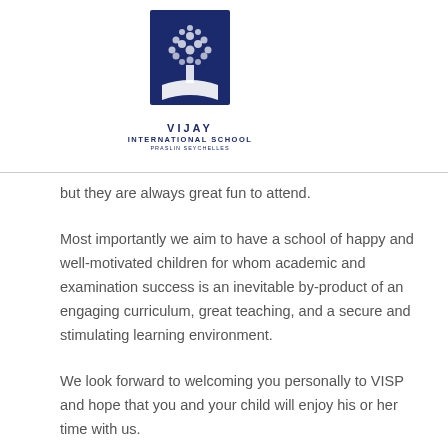[Figure (logo): Vijay International School logo — blue square with tree illustration above text reading VIJAY INTERNATIONAL SCHOOL PRASLIN SEYCHELLES]
but they are always great fun to attend.
Most importantly we aim to have a school of happy and well-motivated children for whom academic and examination success is an inevitable by-product of an engaging curriculum, great teaching, and a secure and stimulating learning environment.
We look forward to welcoming you personally to VISP and hope that you and your child will enjoy his or her time with us.